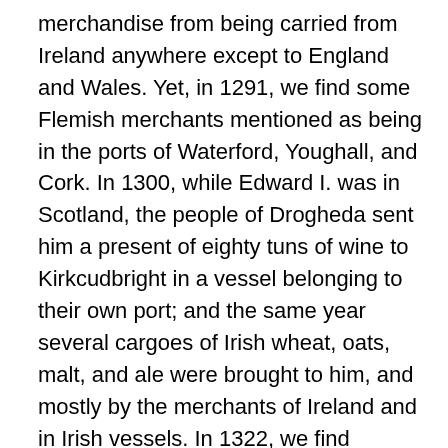merchandise from being carried from Ireland anywhere except to England and Wales. Yet, in 1291, we find some Flemish merchants mentioned as being in the ports of Waterford, Youghall, and Cork. In 1300, while Edward I. was in Scotland, the people of Drogheda sent him a present of eighty tuns of wine to Kirkcudbright in a vessel belonging to their own port; and the same year several cargoes of Irish wheat, oats, malt, and ale were brought to him, and mostly by the merchants of Ireland and in Irish vessels. In 1322, we find Edward II., when preparing to march into Scotland, giving orders for 9000 quarters of wheat and other grain to be sent from Ireland. By the statute 34 Edward III. c. 17, passed in 1360, liberty was given to all merchants and others, whether aliens or natives, to trade freely to and from Ireland, on paying the ancient customs and duties. "At this time," says Macpherson, "there were some considerable